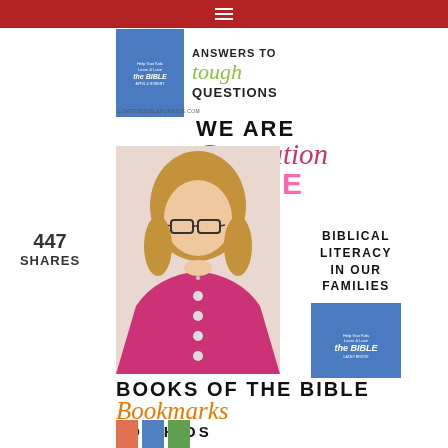Navigation menu (hamburger icon)
[Figure (photo): Advertisement banner for LoveTheBibleForKids.com - book cover on left, text reading 'ANSWERS TO tough QUESTIONS' on right]
447
SHARES
[Figure (photo): We Are Generation Bible promotional image: woman in pink blazer with glasses, text 'WE ARE Generation BIBLE' and 'BIBLICAL LITERACY IN OUR FAMILIES', small book cover and LOVETHEBIBLEFORKIDS.COM url]
[Figure (illustration): Books of the Bible Bookmarks For Kids promotional graphic with bookmark icons]